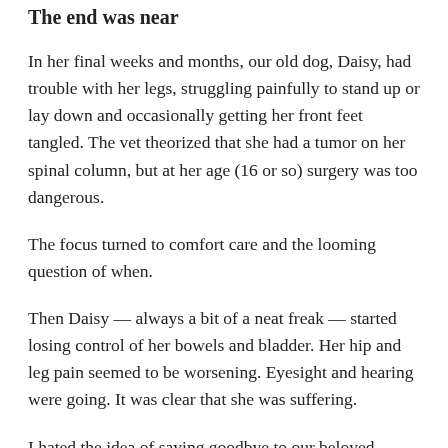The end was near
In her final weeks and months, our old dog, Daisy, had trouble with her legs, struggling painfully to stand up or lay down and occasionally getting her front feet tangled. The vet theorized that she had a tumor on her spinal column, but at her age (16 or so) surgery was too dangerous.
The focus turned to comfort care and the looming question of when.
Then Daisy — always a bit of a neat freak — started losing control of her bowels and bladder. Her hip and leg pain seemed to be worsening. Eyesight and hearing were going. It was clear that she was suffering.
I hated the idea of saying goodbye to our beloved shelter pup in a sterile exam room — she despised vet